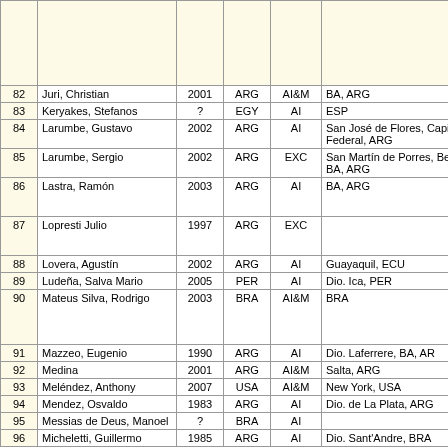| # | Name | Year | Nat | Type | Location |
| --- | --- | --- | --- | --- | --- |
|  |  |  |  |  |  |
| 82 | Juri, Christian | 2001 | ARG | AI&M | BA, ARG |
| 83 | Keryakes, Stefanos | ? | EGY | AI | ESP |
| 84 | Larumbe, Gustavo | 2002 | ARG | AI | San José de Flores, Capital Federal, ARG |
| 85 | Larumbe, Sergio | 2002 | ARG | EXC | San Martín de Porres, Belgrano, BA, ARG |
| 86 | Lastra, Ramón | 2003 | ARG | AI | BA, ARG |
| 87 | Lopresti Julio | 1997 | ARG | EXC |  |
| 88 | Lovera, Agustín | 2002 | ARG | AI | Guayaquil, ECU |
| 89 | Ludeña, Salva Mario | 2005 | PER | AI | Dio. Ica, PER |
| 90 | Mateus Silva, Rodrigo | 2003 | BRA | AI&M | BRA |
| 91 | Mazzeo, Eugenio | 1990 | ARG | AI | Dio. Laferrere, BA, AR |
| 92 | Medina | 2001 | ARG | AI&M | Salta, ARG |
| 93 | Meléndez, Anthony | 2007 | USA | AI&M | New York, USA |
| 94 | Mendez, Osvaldo | 1983 | ARG | AI | Dio. de La Plata, ARG |
| 95 | Messias de Deus, Manoel | ? | BRA | AI |  |
| 96 | Micheletti, Guillermo | 1985 | ARG | AI | Dio. Sant'Andre, BRA |